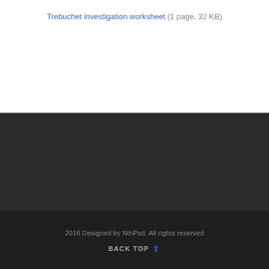Trebuchet investigation worksheet (1 page, 32 KB)
2016 Designed by NthPsd. All rights reserved
BACK TOP ↑